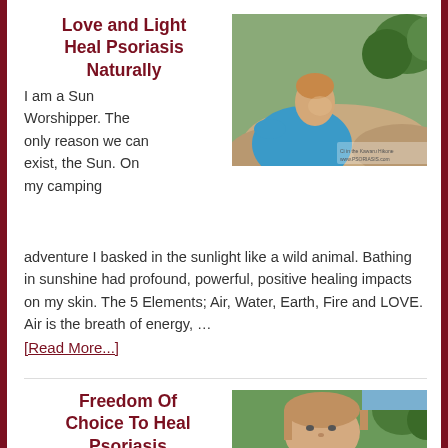Love and Light Heal Psoriasis Naturally
[Figure (photo): Man in blue shirt outdoors looking up, near rocks and trees, selfie style]
I am a Sun Worshipper. The only reason we can exist, the Sun. On my camping adventure I basked in the sunlight like a wild animal. Bathing in sunshine had profound, powerful, positive healing impacts on my skin. The 5 Elements; Air, Water, Earth, Fire and LOVE. Air is the breath of energy, …
[Read More...]
Freedom Of Choice To Heal Psoriasis
[Figure (photo): Close-up portrait of a person with light brown hair outdoors]